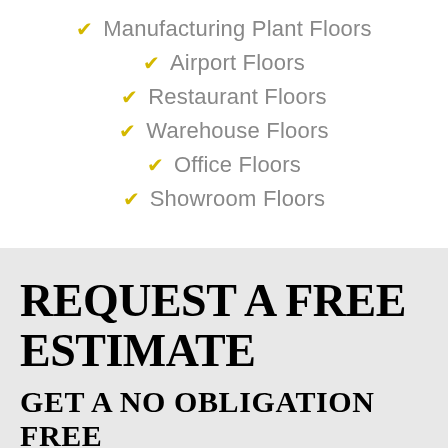Manufacturing Plant Floors
Airport Floors
Restaurant Floors
Warehouse Floors
Office Floors
Showroom Floors
REQUEST A FREE ESTIMATE
GET A NO OBLIGATION FREE